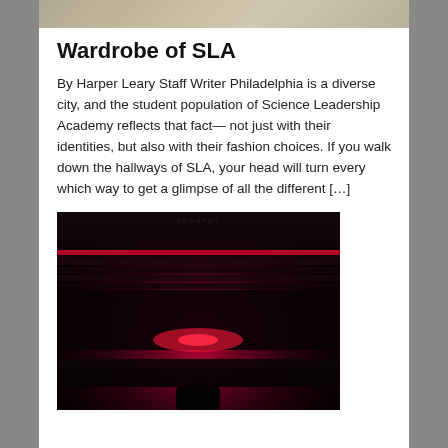[Figure (photo): Partial photo visible at top of page, showing fashion-related imagery from SLA]
Wardrobe of SLA
By Harper Leary Staff Writer Philadelphia is a diverse city, and the student population of Science Leadership Academy reflects that fact— not just with their identities, but also with their fashion choices. If you walk down the hallways of SLA, your head will turn every which way to get a glimpse of all the different […]
[Figure (photo): Concert/arena photo taken from elevated seating showing a large indoor arena with red stage lighting, a crowded floor, and a performer on stage]